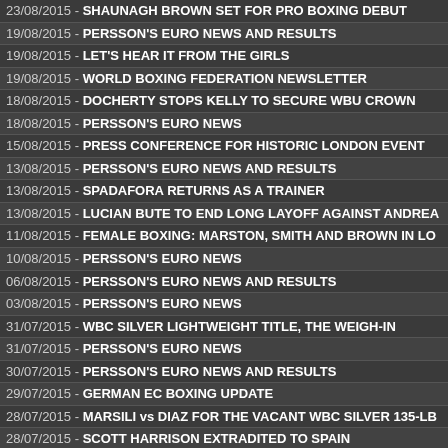23/08/2015 - SHAUNAGH BROWN SET FOR PRO BOXING DEBUT
19/08/2015 - PERSSON'S EURO NEWS AND RESULTS
19/08/2015 - LET'S HEAR IT FROM THE GIRLS
19/08/2015 - WORLD BOXING FEDERATION NEWSLETTER
18/08/2015 - DOCHERTY STOPS KELLY TO SECURE WBU CROWN
18/08/2015 - PERSSON'S EURO NEWS
15/08/2015 - PRESS CONFERENCE FOR HISTORIC LONDON EVENT
13/08/2015 - PERSSON'S EURO NEWS AND RESULTS
13/08/2015 - SPADAFORA RETURNS AS A TRAINER
13/08/2015 - LUCIAN BUTE TO END LONG LAYOFF AGAINST ANDREA
11/08/2015 - FEMALE BOXING: MARSTON, SMITH AND BROWN IN LO
10/08/2015 - PERSSON'S EURO NEWS
06/08/2015 - PERSSON'S EURO NEWS AND RESULTS
03/08/2015 - PERSSON'S EURO NEWS
31/07/2015 - WBC SILVER LIGHTWEIGHT TITLE, THE WEIGH-IN
31/07/2015 - PERSSON'S EURO NEWS
30/07/2015 - PERSSON'S EURO NEWS AND RESULTS
29/07/2015 - GERMAN EC BOXING UPDATE
28/07/2015 - MARSILI vs DIAZ FOR THE VACANT WBC SILVER 135-LB
28/07/2015 - SCOTT HARRISON EXTRADITED TO SPAIN
25/07/2015 - PERSSON'S EURO NEWS
22/07/2015 - PERSSON'S EURO RESULTS
20/07/2015 - JONES JR vs MORAN OPEN PRESS CONFERENCE
16/07/2015 - CHURCHER PREPARED FOR WAR AGAINST McEWAN
16/07/2015 - PERSSON'S EURO NEWS AND RESULTS
14/07/2015 - PERSSON'S EURO NEWS